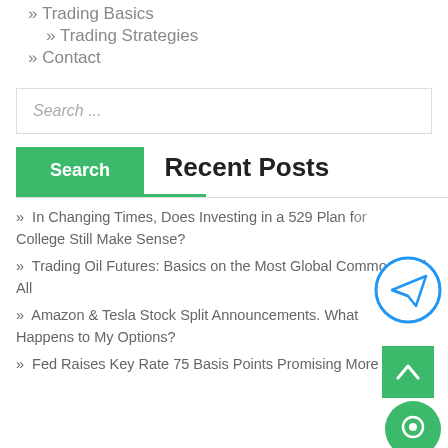» Trading Basics
» Trading Strategies
» Contact
Search ...
Search
Recent Posts
» In Changing Times, Does Investing in a 529 Plan for College Still Make Sense?
» Trading Oil Futures: Basics on the Most Global Commodity of All
» Amazon & Tesla Stock Split Announcements. What Happens to My Options?
» Fed Raises Key Rate 75 Basis Points Promising More t...